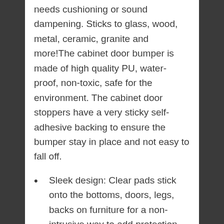needs cushioning or sound dampening. Sticks to glass, wood, metal, ceramic, granite and more!The cabinet door bumper is made of high quality PU, water-proof, non-toxic, safe for the environment. The cabinet door stoppers have a very sticky self-adhesive backing to ensure the bumper stay in place and not easy to fall off.
Sleek design: Clear pads stick onto the bottoms, doors, legs, backs on furniture for a non-intrusive way to add protection without compromising your interior design or look of a room.With these rubber bumper you will stop unwanted noises and gets enhanced living comfort. If you have any dissatisfaction with our products, please feel free to contact us.